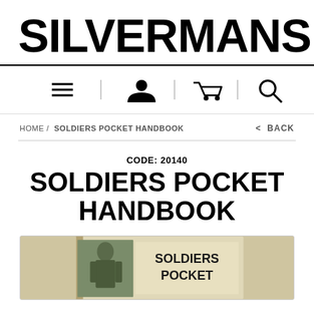SILVERMANS
[Figure (screenshot): Navigation bar with hamburger menu, user icon, shopping cart, and search icons separated by vertical lines]
HOME / SOLDIERS POCKET HANDBOOK
< BACK
CODE: 20140
SOLDIERS POCKET HANDBOOK
[Figure (photo): Book cover showing SOLDIERS POCKET text with a soldier image on the cover]